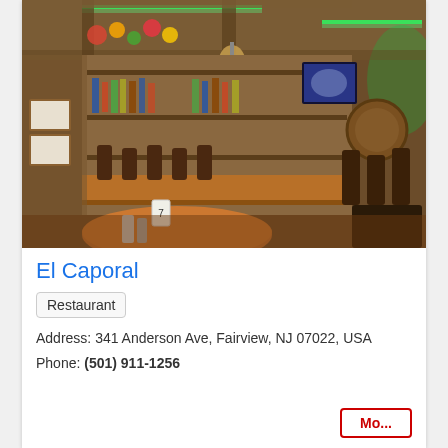[Figure (photo): Interior photo of El Caporal restaurant showing a wooden bar area with bar stools, shelves of bottles, decorative items, pendant lighting with green LED accents along the ceiling beams, a wall-mounted TV, and wooden dining tables in the foreground.]
El Caporal
Restaurant
Address: 341 Anderson Ave, Fairview, NJ 07022, USA
Phone: (501) 911-1256